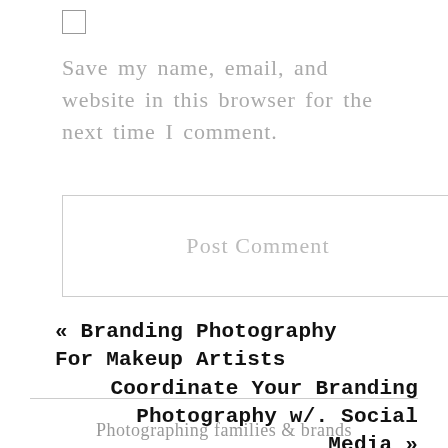[Figure (other): Checkbox input element (unchecked)]
Save my name, email, and website in this browser for the next time I comment.
[Figure (other): Post Comment button (form submit button with border)]
« Branding Photography For Makeup Artists
Coordinate Your Branding Photography w/. Social Media »
Photographing families & brands